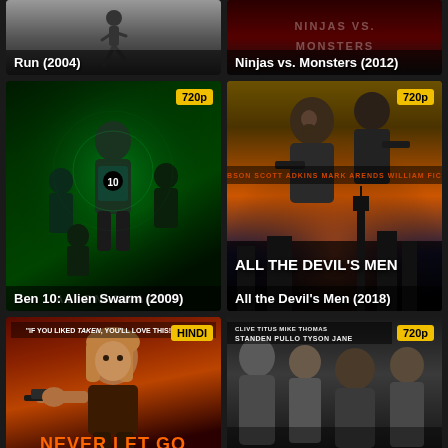[Figure (photo): Movie poster for Run (2004) - dark grey/silver toned image]
Run (2004)
[Figure (photo): Movie poster for Ninjas vs. Monsters (2012) - dark red and black toned image]
Ninjas vs. Monsters (2012)
[Figure (photo): Movie poster for Ben 10: Alien Swarm (2009) - green toned image with 720p badge]
Ben 10: Alien Swarm (2009)
[Figure (photo): Movie poster for All the Devil's Men (2018) - fiery London backdrop with 720p badge]
All the Devil's Men (2018)
[Figure (photo): Movie poster for Never Let Go - woman with gun, orange/red tones, HINDI badge and Taken tagline]
Never Let Go
[Figure (photo): Movie poster featuring Clive Standen, Titus Pullo, Mike Tyson, Thomas Jane - grey tones with 720p badge]